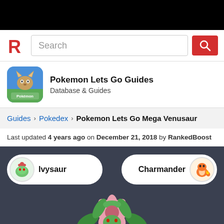[Figure (screenshot): Black top bar background]
[Figure (logo): RankedBoost red R logo]
Search
[Figure (illustration): Pokemon Lets Go game icon with Eevee]
Pokemon Lets Go Guides
Database & Guides
Guides › Pokedex › Pokemon Lets Go Mega Venusaur
Last updated 4 years ago on December 21, 2018 by RankedBoost
Ivysaur
Charmander
[Figure (illustration): Mega Venusaur Pokemon illustration]